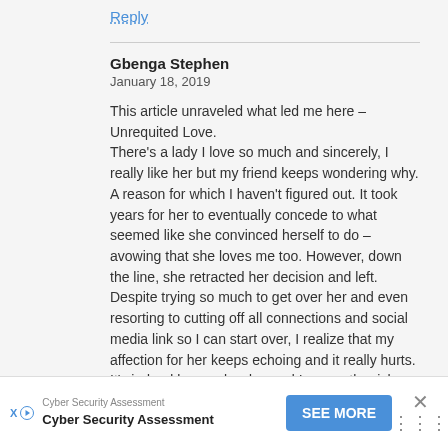Reply
Gbenga Stephen
January 18, 2019
This article unraveled what led me here – Unrequited Love. There's a lady I love so much and sincerely, I really like her but my friend keeps wondering why. A reason for which I haven't figured out. It took years for her to eventually concede to what seemed like she convinced herself to do – avowing that she loves me too. However, down the line, she retracted her decision and left. Despite trying so much to get over her and even resorting to cutting off all connections and social media link so I can start over, I realize that my affection for her keeps echoing and it really hurts. It's indeed been a burden and I earnestly wish time will be fair to grant me
Cyber Security Assessment
Cyber Security Assessment
SEE MORE